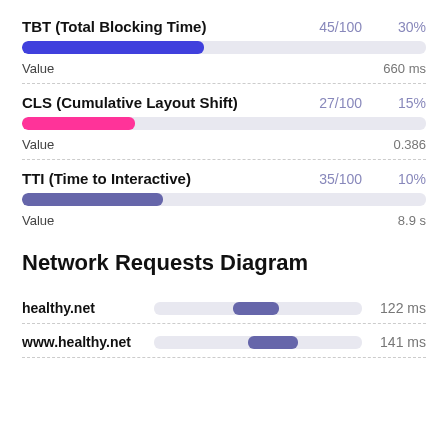TBT (Total Blocking Time)
45/100   30%
[Figure (bar-chart): TBT progress bar]
Value   660 ms
CLS (Cumulative Layout Shift)
27/100   15%
[Figure (bar-chart): CLS progress bar]
Value   0.386
TTI (Time to Interactive)
35/100   10%
[Figure (bar-chart): TTI progress bar]
Value   8.9 s
Network Requests Diagram
healthy.net   122 ms
www.healthy.net   141 ms